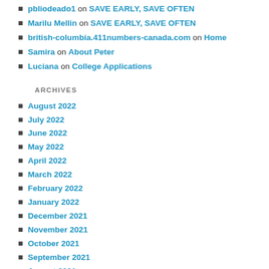pbliodeado1 on SAVE EARLY, SAVE OFTEN
Marilu Mellin on SAVE EARLY, SAVE OFTEN
british-columbia.411numbers-canada.com on Home
Samira on About Peter
Luciana on College Applications
ARCHIVES
August 2022
July 2022
June 2022
May 2022
April 2022
March 2022
February 2022
January 2022
December 2021
November 2021
October 2021
September 2021
August 2021
July 2021